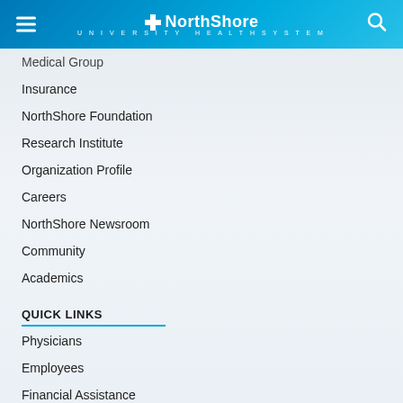NorthShore University HealthSystem
Medical Group
Insurance
NorthShore Foundation
Research Institute
Organization Profile
Careers
NorthShore Newsroom
Community
Academics
QUICK LINKS
Physicians
Employees
Financial Assistance
Health Resources
Email a Patient
Notice of Privacy Practices